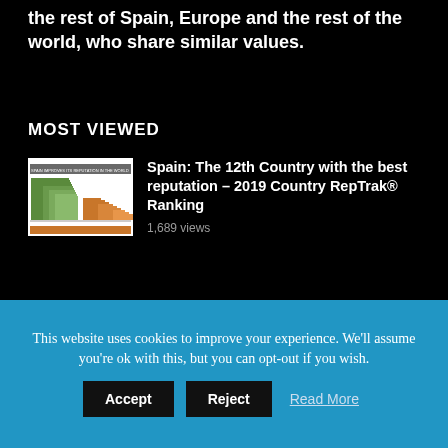the rest of Spain, Europe and the rest of the world, who share similar values.
MOST VIEWED
[Figure (bar-chart): Spain improves its reputation in the world - bar chart thumbnail]
Spain: The 12th Country with the best reputation – 2019 Country RepTrak® Ranking
1,689 views
[Figure (map): Map of Switzerland showing cantons]
The Swiss Constitution makes secession of a region or canton as difficult
This website uses cookies to improve your experience. We'll assume you're ok with this, but you can opt-out if you wish.
Accept   Reject   Read More